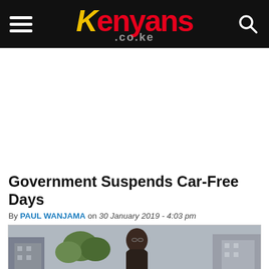Kenyans.co.ke
[Figure (photo): Kenyans.co.ke website header with hamburger menu, red logo, and search icon on black background]
[Figure (photo): Advertisement/blank white area]
Government Suspends Car-Free Days
By PAUL WANJAMA on 30 January 2019 - 4:03 pm
[Figure (photo): Photo of a person outdoors in an urban setting with buildings visible in the background]